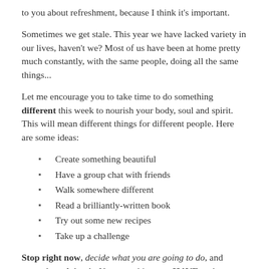to you about refreshment, because I think it's important.
Sometimes we get stale. This year we have lacked variety in our lives, haven't we? Most of us have been at home pretty much constantly, with the same people, doing all the same things...
Let me encourage you to take time to do something different this week to nourish your body, soul and spirit. This will mean different things for different people. Here are some ideas:
Create something beautiful
Have a group chat with friends
Walk somewhere different
Read a brilliantly-written book
Try out some new recipes
Take up a challenge
Stop right now, decide what you are going to do, and commit to doing it. Not something you HAVE to do or OUGHT to